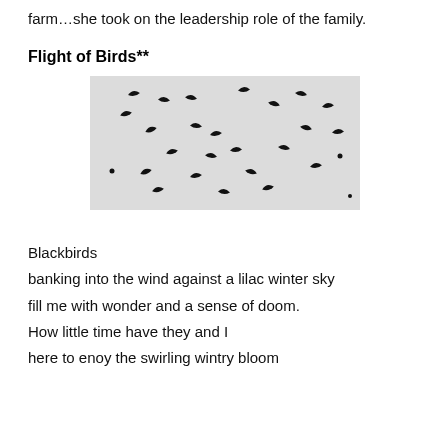farm…she took on the leadership role of the family.
Flight of Birds**
[Figure (photo): Black and white photograph of a flock of birds (blackbirds/starlings) in flight against a light grey sky, showing multiple birds in various wing positions scattered across the frame.]
Blackbirds
banking into the wind against a lilac winter sky
fill me with wonder and a sense of doom.
How little time have they and I
here to enoy the swirling wintry bloom